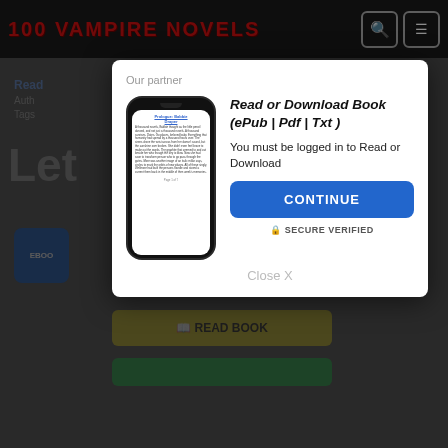100 VAMPIRE NOVELS
[Figure (screenshot): Modal popup overlay on a website called '100 Vampire Novels'. The modal contains a phone image showing a book reader app, a title 'Read or Download Book (ePub | Pdf | Txt)', login message, a blue CONTINUE button, SECURE VERIFIED text, and a Close X link. Background shows dimmed website content.]
Our partner
Read or Download Book (ePub | Pdf | Txt )
You must be logged in to Read or Download
CONTINUE
🔒 SECURE VERIFIED
Close X